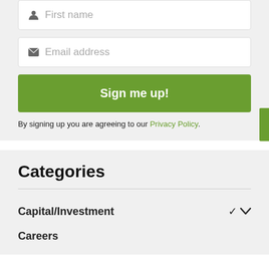First name
Email address
Sign me up!
By signing up you are agreeing to our Privacy Policy.
Categories
Capital/Investment
Careers